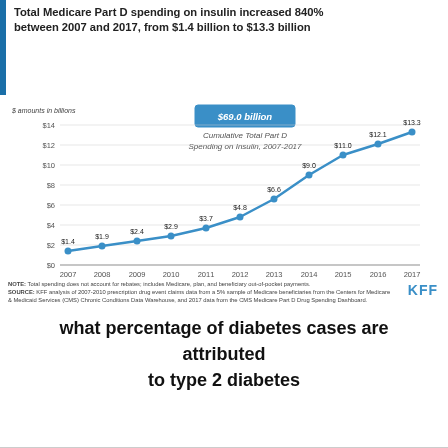[Figure (line-chart): Total Medicare Part D spending on insulin increased 840% between 2007 and 2017, from $1.4 billion to $13.3 billion]
what percentage of diabetes cases are attributed to type 2 diabetes